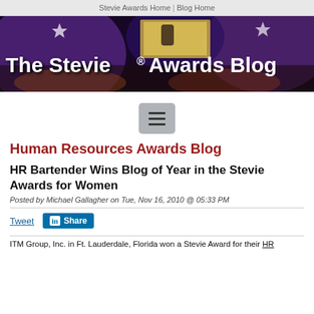Stevie Awards Home | Blog Home
[Figure (photo): The Stevie Awards Blog banner — event photo of an awards ceremony with purple lighting and crowd, with large white text 'The Stevie® Awards Blog' overlaid]
[Figure (other): Hamburger menu button (three horizontal lines) on a grey rounded rectangle background]
Human Resources Awards Blog
HR Bartender Wins Blog of Year in the Stevie Awards for Women
Posted by Michael Gallagher on Tue, Nov 16, 2010 @ 05:33 PM
Tweet  Share
ITM Group, Inc. in Ft. Lauderdale, Florida won a Stevie Award for their HR